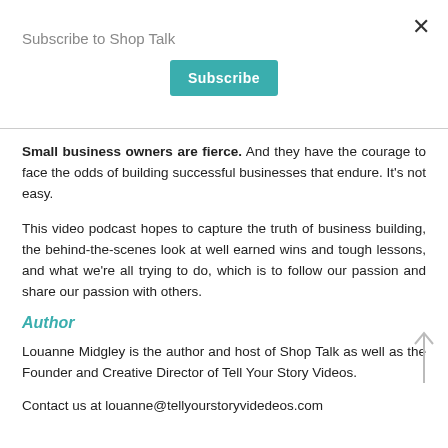Subscribe to Shop Talk
[Figure (other): Subscribe button — teal/green rounded rectangle with white text 'Subscribe']
Small business owners are fierce. And they have the courage to face the odds of building successful businesses that endure. It's not easy.
This video podcast hopes to capture the truth of business building, the behind-the-scenes look at well earned wins and tough lessons, and what we're all trying to do, which is to follow our passion and share our passion with others.
Author
Louanne Midgley is the author and host of Shop Talk as well as the Founder and Creative Director of Tell Your Story Videos.
Contact us at louanne@tellyourstoryvidedeos.com